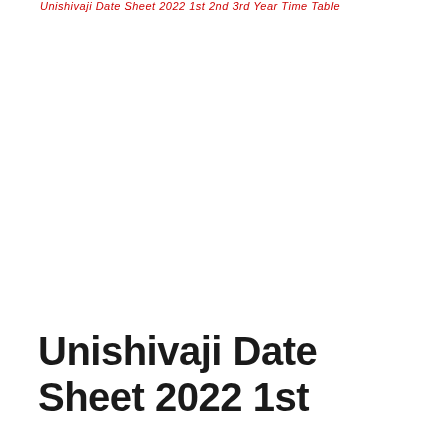Unishivaji Date Sheet 2022 1st 2nd 3rd Year Time Table
Unishivaji Date Sheet 2022 1st